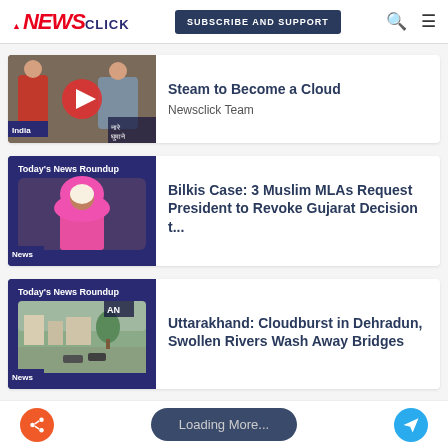Newsclick — SUBSCRIBE AND SUPPORT
[Figure (screenshot): Thumbnail of two people with play button, India tag]
Steam to Become a Cloud
Newsclick Team
[Figure (screenshot): Today's News Roundup thumbnail with woman in pink hijab, News tag]
Bilkis Case: 3 Muslim MLAs Request President to Revoke Gujarat Decision t...
[Figure (screenshot): Today's News Roundup thumbnail with flooded street, News tag]
Uttarakhand: Cloudburst in Dehradun, Swollen Rivers Wash Away Bridges
Loading More...